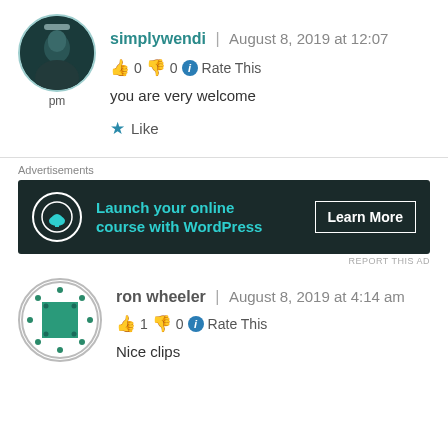[Figure (photo): Avatar photo of user simplywendi — circular profile picture showing a person with dark background]
simplywendi | August 8, 2019 at 12:07 pm
👍 0 👎 0 ℹ Rate This
you are very welcome
★ Like
[Figure (screenshot): Advertisement banner: Launch your online course with WordPress — Learn More button. Dark background with teal tree icon.]
[Figure (logo): Avatar icon for user ron wheeler — circular icon with teal square and diamond pattern]
ron wheeler | August 8, 2019 at 4:14 am
👍 1 👎 0 ℹ Rate This
Nice clips